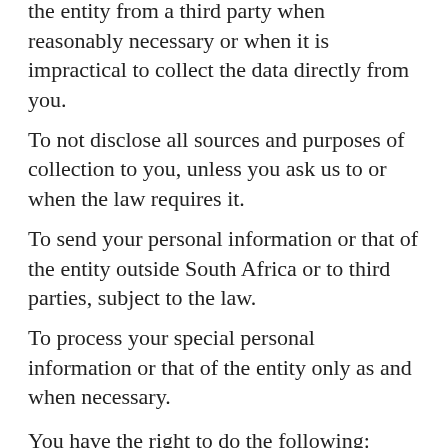the entity from a third party when reasonably necessary or when it is impractical to collect the data directly from you.
To not disclose all sources and purposes of collection to you, unless you ask us to or when the law requires it.
To send your personal information or that of the entity outside South Africa or to third parties, subject to the law.
To process your special personal information or that of the entity only as and when necessary.
You have the right to do the following:
To ask us to confirm, free of charge, whether we have personal information about you or